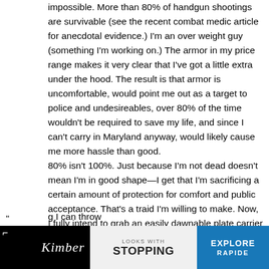impossible. More than 80% of handgun shootings are survivable (see the recent combat medic article for anecdotal evidence.) I'm an over weight guy (something I'm working on.) The armor in my price range makes it very clear that I've got a little extra under the hood. The result is that armor is uncomfortable, would point me out as a target to police and undesireables, over 80% of the time wouldn't be required to save my life, and since I can't carry in Maryland anyway, would likely cause me more hassle than good.
80% isn't 100%. Just because I'm not dead doesn't mean I'm in good shape—I get that I'm sacrificing a certain amount of protection for comfort and public acceptance. That's a traid I'm willing to make. Now, I fully intend to grab an easily dawnable plate carrier
"
g I can throw
[Figure (other): Advertisement banner for Kimber firearms featuring 'LOOKS WITH STOPPING' text on left/center and 'EXPLORE RAPIDE' button on right blue panel, with a gun image in the middle.]